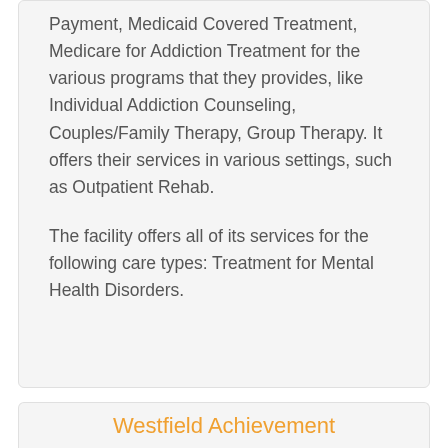Payment, Medicaid Covered Treatment, Medicare for Addiction Treatment for the various programs that they provides, like Individual Addiction Counseling, Couples/Family Therapy, Group Therapy. It offers their services in various settings, such as Outpatient Rehab.

The facility offers all of its services for the following care types: Treatment for Mental Health Disorders.
Westfield Achievement
Westfield Achievement is based in Toledo,